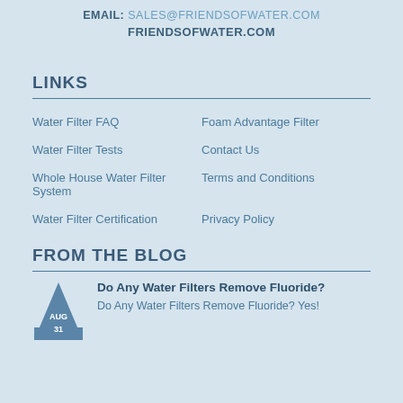EMAIL: SALES@FRIENDSOFWATER.COM
FRIENDSOFWATER.COM
LINKS
Water Filter FAQ
Foam Advantage Filter
Water Filter Tests
Contact Us
Whole House Water Filter System
Terms and Conditions
Water Filter Certification
Privacy Policy
FROM THE BLOG
[Figure (illustration): Blue triangle/water-drop shape with AUG and 31 text, blog date icon]
Do Any Water Filters Remove Fluoride?
Do Any Water Filters Remove Fluoride?  Yes!